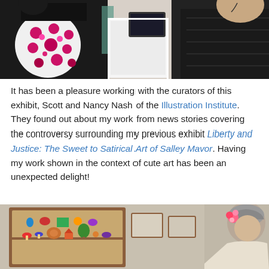[Figure (photo): Indoor event photo showing a person in a colorful polka-dot dress on the left and a person in a black puffer jacket on the right, with a white pedestal and tablet device in the center background.]
It has been a pleasure working with the curators of this exhibit, Scott and Nancy Nash of the Illustration Institute. They found out about my work from news stories covering the controversy surrounding my previous exhibit Liberty and Justice: The Sweet to Satirical Art of Salley Mavor. Having my work shown in the context of cute art has been an unexpected delight!
[Figure (photo): Indoor gallery scene showing a wooden display case with colorful figurines on the left, and a person with gray and pink-highlighted hair on the right.]